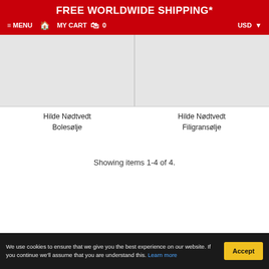FREE WORLDWIDE SHIPPING*
≡ MENU  🏠  MY CART 🛍 0   USD ▼
[Figure (photo): Gray placeholder image for product Hilde Nødtvedt Bolesølje]
[Figure (photo): Gray placeholder image for product Hilde Nødtvedt Filigransølje]
Hilde Nødtvedt
Bolesølje
Hilde Nødtvedt
Filigransølje
Showing items 1-4 of 4.
We use cookies to ensure that we give you the best experience on our website. If you continue we'll assume that you are understand this. Learn more